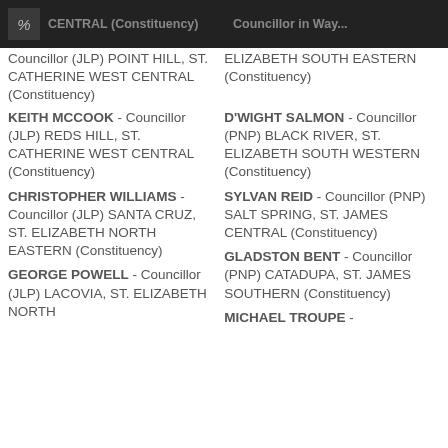CENTRAL (Constituency) | Councillor in Way...
Councillor (JLP) POINT HILL, ST. CATHERINE WEST CENTRAL (Constituency)
KEITH MCCOOK - Councillor (JLP) REDS HILL, ST. CATHERINE WEST CENTRAL (Constituency)
CHRISTOPHER WILLIAMS - Councillor (JLP) SANTA CRUZ, ST. ELIZABETH NORTH EASTERN (Constituency)
GEORGE POWELL - Councillor (JLP) LACOVIA, ST. ELIZABETH NORTH
ELIZABETH SOUTH EASTERN (Constituency)
D'WIGHT SALMON - Councillor (PNP) BLACK RIVER, ST. ELIZABETH SOUTH WESTERN (Constituency)
SYLVAN REID - Councillor (PNP) SALT SPRING, ST. JAMES CENTRAL (Constituency)
GLADSTON BENT - Councillor (PNP) CATADUPA, ST. JAMES SOUTHERN (Constituency)
MICHAEL TROUPE -